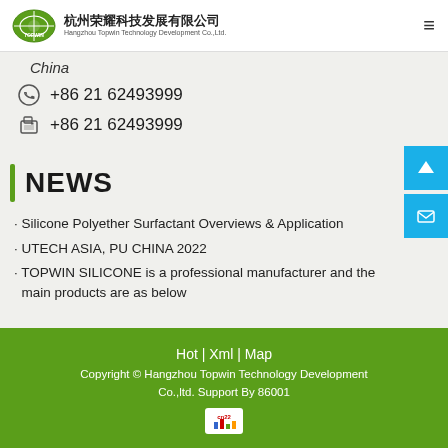杭州荣耀科技发展有限公司 Hangzhou Topwin Technology Development Co.,Ltd.
China
+86 21 62493999 (phone)
+86 21 62493999 (fax)
NEWS
· Silicone Polyether Surfactant Overviews & Application
· UTECH ASIA, PU CHINA 2022
· TOPWIN SILICONE is a professional manufacturer and the main products are as below
Hot | Xml | Map
Copyright © Hangzhou Topwin Technology Development Co.,ltd. Support By 86001